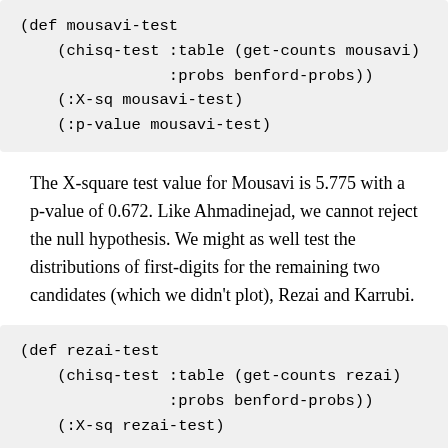(def mousavi-test
    (chisq-test :table (get-counts mousavi)
                :probs benford-probs))
    (:X-sq mousavi-test)
    (:p-value mousavi-test)
The X-square test value for Mousavi is 5.775 with a p-value of 0.672. Like Ahmadinejad, we cannot reject the null hypothesis. We might as well test the distributions of first-digits for the remaining two candidates (which we didn't plot), Rezai and Karrubi.
(def rezai-test
    (chisq-test :table (get-counts rezai)
                :probs benford-probs))
    (:X-sq rezai-test)